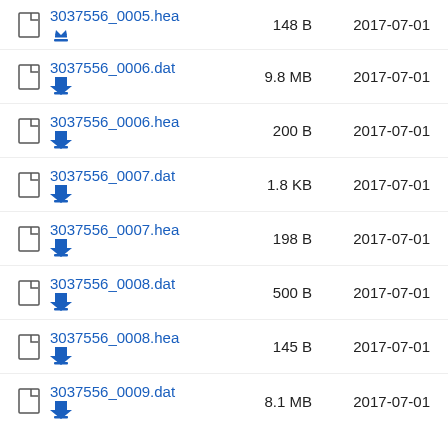3037556_0005.hea  148 B  2017-07-01
3037556_0006.dat  9.8 MB  2017-07-01
3037556_0006.hea  200 B  2017-07-01
3037556_0007.dat  1.8 KB  2017-07-01
3037556_0007.hea  198 B  2017-07-01
3037556_0008.dat  500 B  2017-07-01
3037556_0008.hea  145 B  2017-07-01
3037556_0009.dat  8.1 MB  2017-07-01